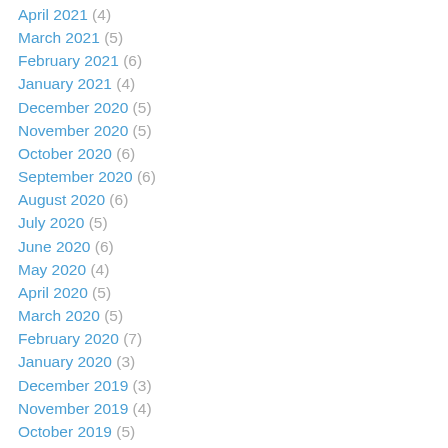April 2021 (4)
March 2021 (5)
February 2021 (6)
January 2021 (4)
December 2020 (5)
November 2020 (5)
October 2020 (6)
September 2020 (6)
August 2020 (6)
July 2020 (5)
June 2020 (6)
May 2020 (4)
April 2020 (5)
March 2020 (5)
February 2020 (7)
January 2020 (3)
December 2019 (3)
November 2019 (4)
October 2019 (5)
September 2019 (5)